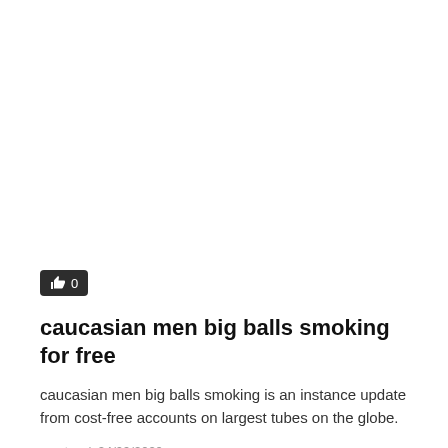[Figure (other): Like button with thumbs up icon and count 0 on dark background]
caucasian men big balls smoking for free
caucasian men big balls smoking is an instance update from cost-free accounts on largest tubes on the globe.
master  /  24/09/2020
0